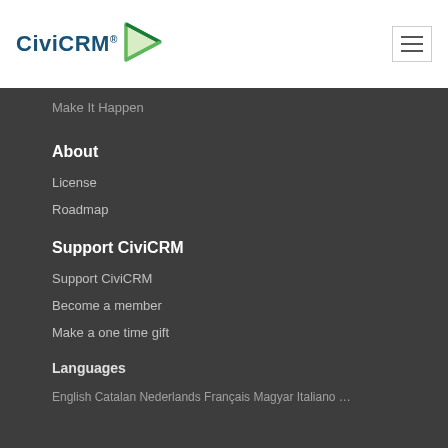[Figure (logo): CiviCRM logo with text and green triangle/play button icon]
Make It Happen
About
License
Roadmap
Support CiviCRM
Support CiviCRM
Become a member
Make a one time gift
Languages
English  Catalan  Nederlands  Français  Magyar  Italiano ...